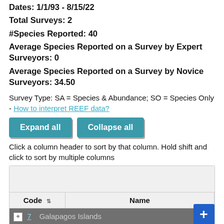Dates: 1/1/93 - 8/15/22
Total Surveys: 2
#Species Reported: 40
Average Species Reported on a Survey by Expert Surveyors: 0
Average Species Reported on a Survey by Novice Surveyors: 34.50
Survey Type: SA = Species & Abundance; SO = Species Only - How to interpret REEF data?
Click a column header to sort by that column. Hold shift and click to sort by multiple columns
| Code | Name |
| --- | --- |
| 7 | Galapagos Islands |